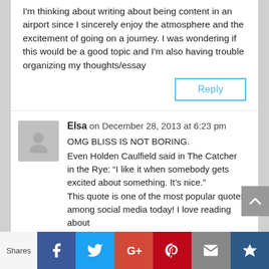I'm thinking about writing about being content in an airport since I sincerely enjoy the atmosphere and the excitement of going on a journey. I was wondering if this would be a good topic and I'm also having trouble organizing my thoughts/essay
Reply
Elsa on December 28, 2013 at 6:23 pm
OMG BLISS IS NOT BORING.
Even Holden Caulfield said in The Catcher in the Rye: “I like it when somebody gets excited about something. It’s nice.”
This quote is one of the most popular quotes among social media today! I love reading about
Shares | Facebook | Twitter | Google+ | Pinterest | Email | Crown